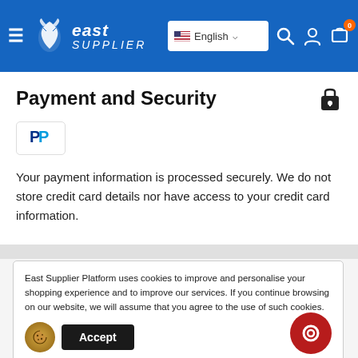East Supplier — English
Payment and Security
[Figure (logo): PayPal logo button]
Your payment information is processed securely. We do not store credit card details nor have access to your credit card information.
East Supplier Platform uses cookies to improve and personalise your shopping experience and to improve our services. If you continue browsing on our website, we will assume that you agree to the use of such cookies.
Provinces